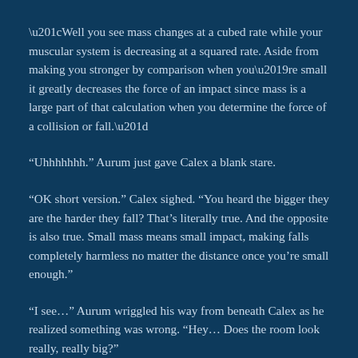“Well you see mass changes at a cubed rate while your muscular system is decreasing at a squared rate. Aside from making you stronger by comparison when you’re small it greatly decreases the force of an impact since mass is a large part of that calculation when you determine the force of a collision or fall.”
“Uhhhhhhh.” Aurum just gave Calex a blank stare.
“OK short version.” Calex sighed. “You heard the bigger they are the harder they fall? That’s literally true. And the opposite is also true. Small mass means small impact, making falls completely harmless no matter the distance once you’re small enough.”
“I see…” Aurum wriggled his way from beneath Calex as he realized something was wrong. “Hey… Does the room look really, really big?”